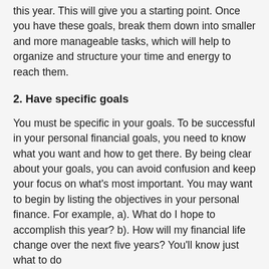this year. This will give you a starting point. Once you have these goals, break them down into smaller and more manageable tasks, which will help to organize and structure your time and energy to reach them.
2. Have specific goals
You must be specific in your goals. To be successful in your personal financial goals, you need to know what you want and how to get there. By being clear about your goals, you can avoid confusion and keep your focus on what's most important. You may want to begin by listing the objectives in your personal finance. For example, a). What do I hope to accomplish this year? b). How will my financial life change over the next five years? You'll know just what to do